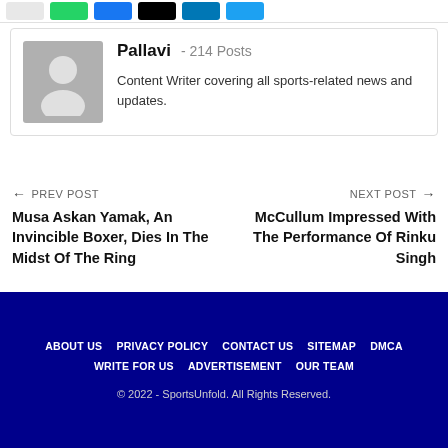[Figure (other): Social share buttons row: white placeholder, green WhatsApp, blue Facebook, black X/Twitter, navy LinkedIn, light blue Twitter]
Pallavi - 214 Posts
Content Writer covering all sports-related news and updates.
← PREV POST
Musa Askan Yamak, An Invincible Boxer, Dies In The Midst Of The Ring
NEXT POST →
McCullum Impressed With The Performance Of Rinku Singh
ABOUT US   PRIVACY POLICY   CONTACT US   SITEMAP   DMCA
WRITE FOR US   ADVERTISEMENT   OUR TEAM
© 2022 - SportsUnfold. All Rights Reserved.